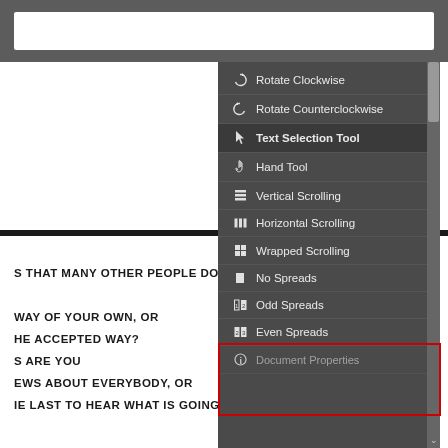[Figure (screenshot): Screenshot of a PDF viewer application showing a right-click context menu with options: Rotate Clockwise, Rotate Counterclockwise, Text Selection Tool (highlighted), Hand Tool, Vertical Scrolling, Horizontal Scrolling, Wrapped Scrolling, No Spreads, Odd Spreads (highlighted with red box), Even Spreads (highlighted with red box), Document Properties. Behind the menu is a white document page with uppercase bold text lines partially visible: 'S THAT MANY OTHER PEOPLE DO, W', 'WAY OF YOUR OWN, OR', 'HE ACCEPTED WAY?', 'S ARE YOU', 'EWS ABOUT EVERYBODY, OR', 'IE LAST TO HEAR WHAT IS GOING O'. A toolbar with a white input box is at the top.]